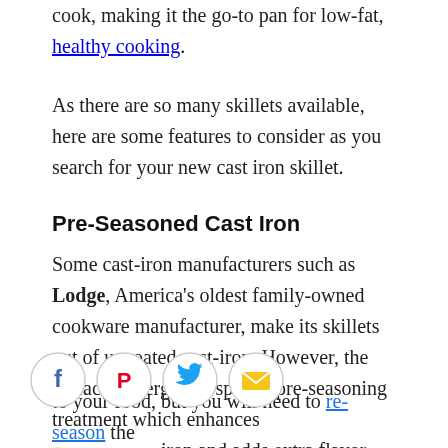cook, making it the go-to pan for low-fat, healthy cooking.
As there are so many skillets available, here are some features to consider as you search for your new cast iron skillet.
Pre-Seasoned Cast Iron
Some cast-iron manufacturers such as Lodge, America's oldest family-owned cookware manufacturer, make its skillets out of uncoated cast-iron. However, the surface undergoes a special pre-seasoning treatment which enhances the integrity of the cast iron and adds extra flavor to your food, but you will need to re-season the
[Figure (infographic): Social share buttons: Facebook (blue f icon), Pinterest (red P icon), Twitter (blue bird icon), Email (yellow envelope icon), all circular with grey borders]